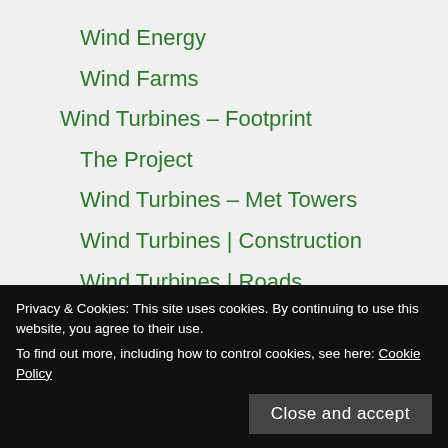Wind Energy
Wind Farms
Wind Turbines – Footprint
The Project
Wind Turbines – Met Towers
Wind Turbines | Construction
Wind Turbines | Roads
Wind Turbines | Structures
Privacy & Cookies: This site uses cookies. By continuing to use this website, you agree to their use.
To find out more, including how to control cookies, see here: Cookie Policy
Close and accept